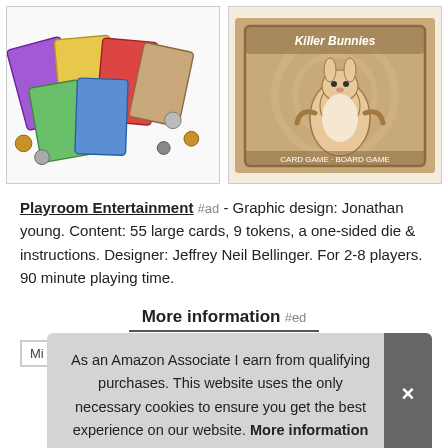[Figure (photo): Left image: colorful trading cards spread out with coin tokens on a white background.]
[Figure (photo): Right image: Killer Bunnies board game box featuring a cartoon kangaroo on a brown swirled background.]
Playroom Entertainment #ad - Graphic design: Jonathan young. Content: 55 large cards, 9 tokens, a one-sided die & instructions. Designer: Jeffrey Neil Bellinger. For 2-8 players. 90 minute playing time.
More information #ed
As an Amazon Associate I earn from qualifying purchases. This website uses the only necessary cookies to ensure you get the best experience on our website. More information